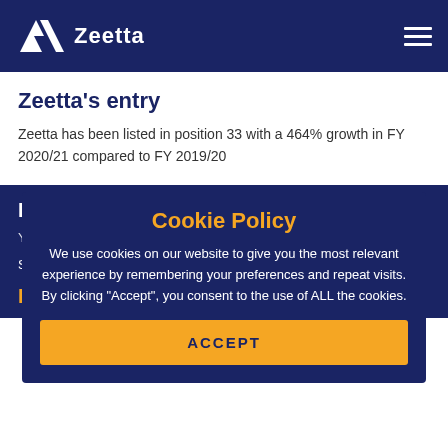Zeetta
Zeetta's entry
Zeetta has been listed in position 33 with a 464% growth in FY 2020/21 compared to FY 2019/20
Find out more
You can access the Tech Track 100 here
Share
Recent Articles
Cookie Policy
We use cookies on our website to give you the most relevant experience by remembering your preferences and repeat visits. By clicking "Accept", you consent to the use of ALL the cookies.
ACCEPT